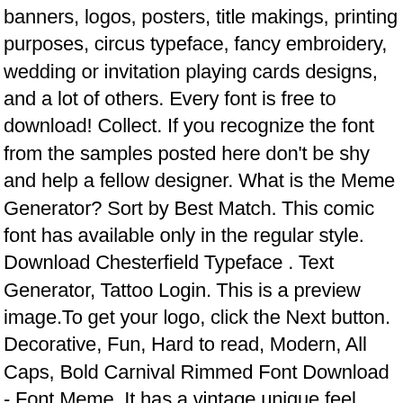banners, logos, posters, title makings, printing purposes, circus typeface, fancy embroidery, wedding or invitation playing cards designs, and a lot of others. Every font is free to download! Collect. If you recognize the font from the samples posted here don't be shy and help a fellow designer. What is the Meme Generator? Sort by Best Match. This comic font has available only in the regular style. Download Chesterfield Typeface . Text Generator, Tattoo Login. This is a preview image.To get your logo, click the Next button. Decorative, Fun, Hard to read, Modern, All Caps, Bold Carnival Rimmed Font Download - Font Meme. It has a vintage unique feel. Save my name, email, and website in this browser for the next time I comment. Carnivalee Freakshow. Use it for any crafting project that requires personalized appearance. Text Generator, Cursive Mojita has great versatility in its application, perfect [...] Carnival Font Introducing Carnival, a handcrafted serif font that brings out the festive and wild feature and is perfect for your branding, logo, advertisement and all other inspirational design. Once the